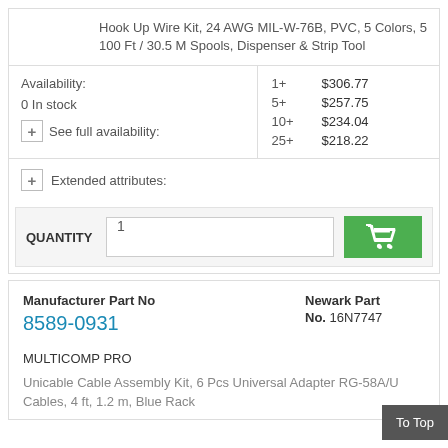Hook Up Wire Kit, 24 AWG MIL-W-76B, PVC, 5 Colors, 5 100 Ft / 30.5 M Spools, Dispenser & Strip Tool
| Availability | Qty | Price |
| --- | --- | --- |
| 1+ | $306.77 |
| 5+ | $257.75 |
| 10+ | $234.04 |
| 25+ | $218.22 |
0 In stock
+ See full availability:
+ Extended attributes:
QUANTITY 1
Manufacturer Part No
8589-0931
Newark Part No. 16N7747
MULTICOMP PRO
Unicable Cable Assembly Kit, 6 Pcs Universal Adapter RG-58A/U Cables, 4 ft, 1.2 m, Blue Rack